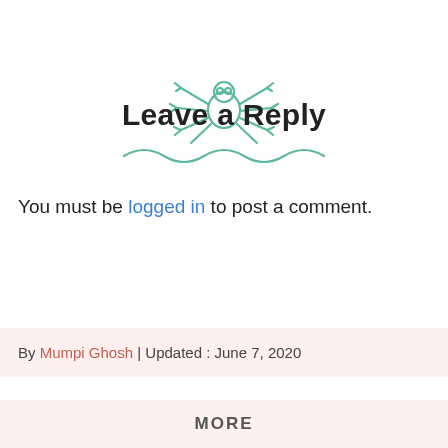[Figure (illustration): Hand-drawn style spider icon in teal/mint green color, with a round body and multiple legs splayed outward]
Leave a Reply
[Figure (illustration): A wavy decorative line in teal/mint green color beneath the title]
You must be logged in to post a comment.
By Mumpi Ghosh | Updated : June 7, 2020
MORE